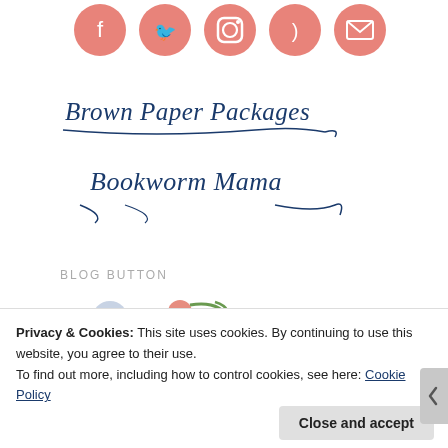[Figure (illustration): Row of five salmon/coral circular social media icons: Facebook, Twitter, Instagram, RSS, and Email]
[Figure (logo): Brown Paper Packages script/cursive logo text in dark navy blue with decorative flourish underline]
[Figure (logo): Bookworm Mama script/cursive logo text in dark navy blue with decorative flourishes]
BLOG BUTTON
[Figure (illustration): Partial view of a blog button image partially visible at bottom]
Privacy & Cookies: This site uses cookies. By continuing to use this website, you agree to their use.
To find out more, including how to control cookies, see here: Cookie Policy
Close and accept